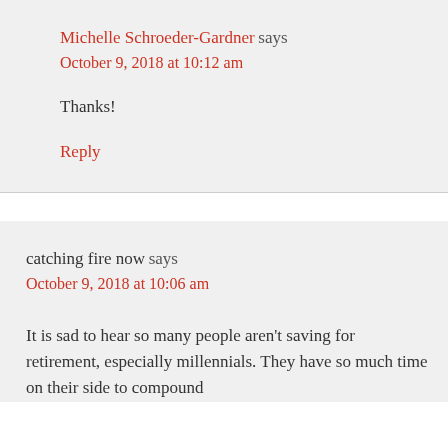Michelle Schroeder-Gardner says
October 9, 2018 at 10:12 am
Thanks!
Reply
catching fire now says
October 9, 2018 at 10:06 am
It is sad to hear so many people aren't saving for retirement, especially millennials. They have so much time on their side to compound